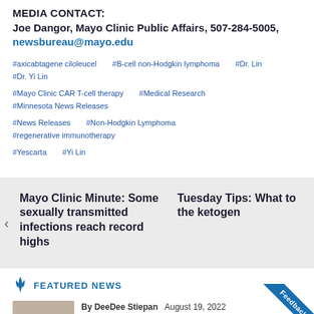MEDIA CONTACT:
Joe Dangor, Mayo Clinic Public Affairs, 507-284-5005, newsbureau@mayo.edu
#axicabtagene ciloleucel   #B-cell non-Hodgkin lymphoma   #Dr. Lin   #Dr. Yi Lin
#Mayo Clinic CAR T-cell therapy   #Medical Research   #Minnesota News Releases
#News Releases   #Non-Hodgkin Lymphoma   #regenerative immunotherapy
#Yescarta   #Yi Lin
Mayo Clinic Minute: Some sexually transmitted infections reach record highs
Tuesday Tips: What to [know about] the ketogen[ic diet]
FEATURED NEWS
By DeeDee Stiepan   August 19, 2022